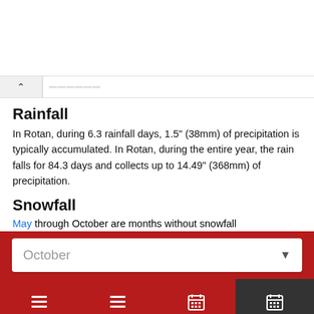Rainfall
In Rotan, during 6.3 rainfall days, 1.5" (38mm) of precipitation is typically accumulated. In Rotan, during the entire year, the rain falls for 84.3 days and collects up to 14.49" (368mm) of precipitation.
Snowfall
May through October are months without snowfall.